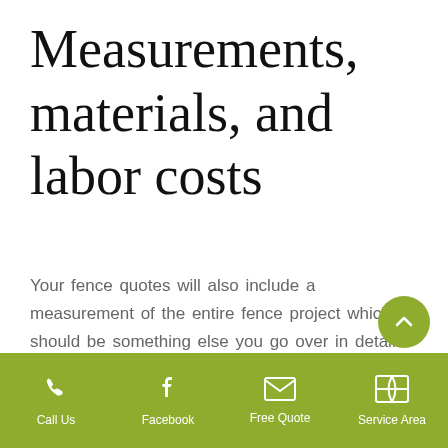Measurements, materials, and labor costs
Your fence quotes will also include a measurement of the entire fence project which should be something else you go over in detail when the company visits your home. It will also include costs for materials and labor which will make up the lion's share of the quote. Hopefully the fence company that prepared the quote factored in all materials that will be
Call Us   Facebook   Free Quote   Service Area